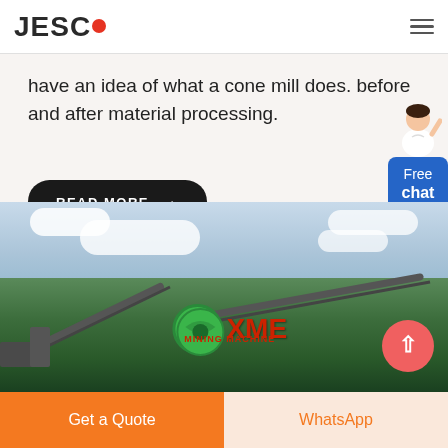JESCO
have an idea of what a cone mill does. before and after material processing.
READ MORE →
[Figure (photo): Outdoor industrial machinery scene with conveyor equipment, green circular logo, XME text overlay in red, trees and cloudy sky in background]
Get a Quote | WhatsApp